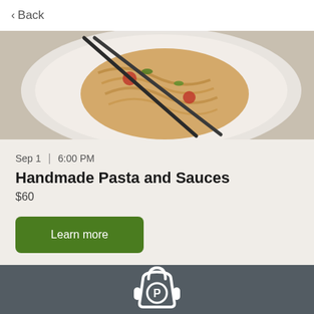< Back
[Figure (photo): Overhead view of a plate of handmade pasta with sauce, garnished with herbs and tomatoes, with dark chopsticks/utensils resting on the plate]
Sep 1  |  6:00 PM
Handmade Pasta and Sauces
$60
Learn more
[Figure (logo): Publix app logo - white shopping bag icon with P letter on a dark grey background]